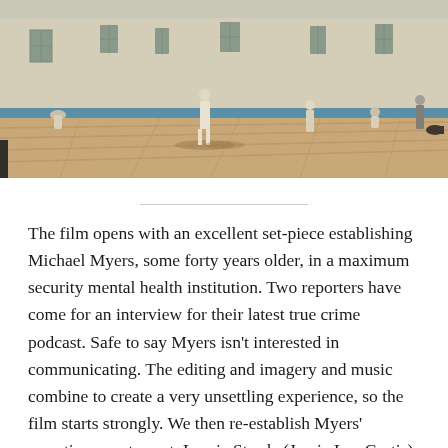[Figure (photo): Outdoor courtyard scene at a maximum security mental health institution. Several figures in white clothing are visible on a reddish-tan paved yard. A large pale green/beige institutional building with rectangular windows lines the background. A blue stripe runs along the building. Some guards or staff are visible near the edge.]
The film opens with an excellent set-piece establishing Michael Myers, some forty years older, in a maximum security mental health institution. Two reporters have come for an interview for their latest true crime podcast. Safe to say Myers isn't interested in communicating. The editing and imagery and music combine to create a very unsettling experience, so the film starts strongly. We then re-establish Myers' narrative counterpart, Laurie Strode (Jamie Lee Curtis).
Now, you have to swallow the fact that this is a direct sequel to the original Carpenter classic. None of the other films happened; which essentially works, despite some wonky